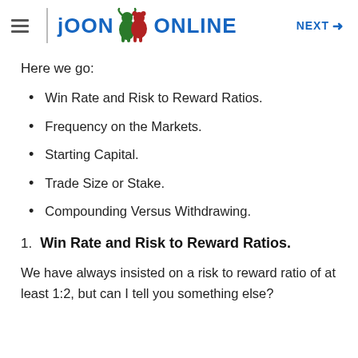JOON ONLINE  NEXT →
Here we go:
Win Rate and Risk to Reward Ratios.
Frequency on the Markets.
Starting Capital.
Trade Size or Stake.
Compounding Versus Withdrawing.
1. Win Rate and Risk to Reward Ratios.
We have always insisted on a risk to reward ratio of at least 1:2, but can I tell you something else?